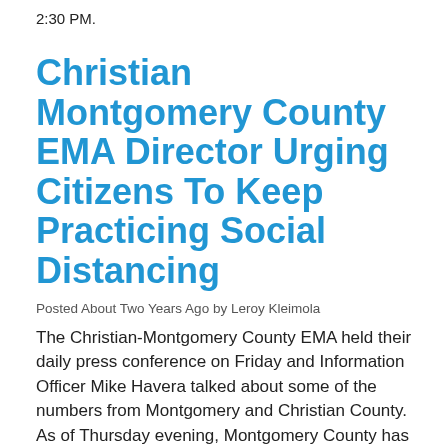2:30 PM.
Christian Montgomery County EMA Director Urging Citizens To Keep Practicing Social Distancing
Posted About Two Years Ago by Leroy Kleimola
The Christian-Montgomery County EMA held their daily press conference on Friday and Information Officer Mike Havera talked about some of the numbers from Montgomery and Christian County.  As of Thursday evening, Montgomery County has 16 pending tests, 0 positives, and 20 negative tests. Christian County has 1 pending tests, 2 positive tests,